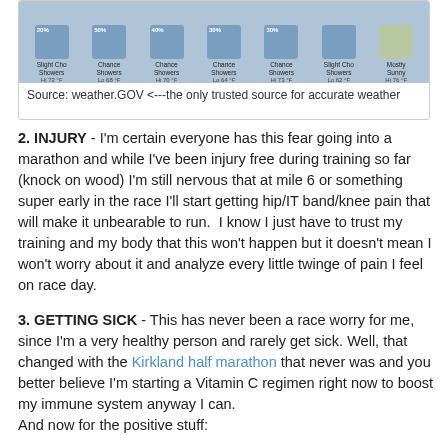[Figure (screenshot): Weather forecast strip showing 7 days of weather icons with precipitation chances and temperatures, with source caption below reading 'Source: weather.GOV <---the only trusted source for accurate weather']
2. INJURY - I'm certain everyone has this fear going into a marathon and while I've been injury free during training so far (knock on wood) I'm still nervous that at mile 6 or something super early in the race I'll start getting hip/IT band/knee pain that will make it unbearable to run. I know I just have to trust my training and my body that this won't happen but it doesn't mean I won't worry about it and analyze every little twinge of pain I feel on race day.
3. GETTING SICK - This has never been a race worry for me, since I'm a very healthy person and rarely get sick. Well, that changed with the Kirkland half marathon that never was and you better believe I'm starting a Vitamin C regimen right now to boost my immune system anyway I can.
And now for the positive stuff: